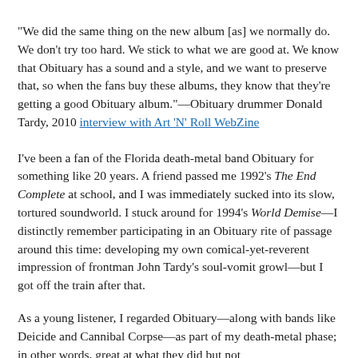"We did the same thing on the new album [as] we normally do. We don't try too hard. We stick to what we are good at. We know that Obituary has a sound and a style, and we want to preserve that, so when the fans buy these albums, they know that they're getting a good Obituary album."—Obituary drummer Donald Tardy, 2010 interview with Art 'N' Roll WebZine
I've been a fan of the Florida death-metal band Obituary for something like 20 years. A friend passed me 1992's The End Complete at school, and I was immediately sucked into its slow, tortured soundworld. I stuck around for 1994's World Demise—I distinctly remember participating in an Obituary rite of passage around this time: developing my own comical-yet-reverent impression of frontman John Tardy's soul-vomit growl—but I got off the train after that.
As a young listener, I regarded Obituary—along with bands like Deicide and Cannibal Corpse—as part of my death-metal phase; in other words, great at what they did but not